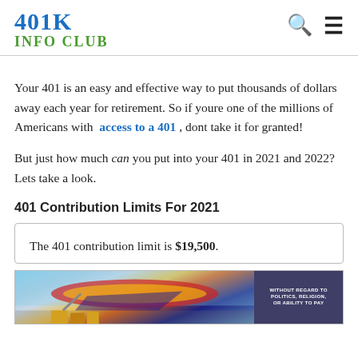401K INFO CLUB
Your 401 is an easy and effective way to put thousands of dollars away each year for retirement. So if youre one of the millions of Americans with access to a 401 , dont take it for granted!
But just how much can you put into your 401 in 2021 and 2022? Lets take a look.
401 Contribution Limits For 2021
The 401 contribution limit is $19,500.
[Figure (photo): Advertisement banner showing cargo being loaded onto an airplane, with a dark overlay on the right containing text 'WITHOUT REGARD TO POLITICS, RELIGION, OR ABILITY TO PAY']